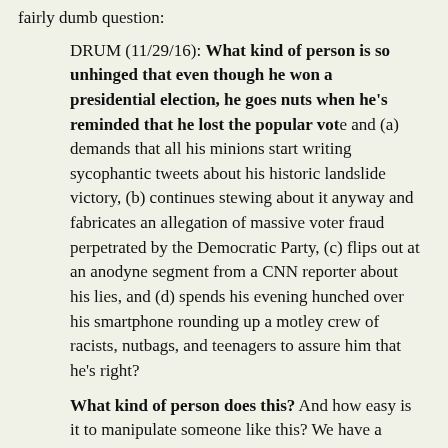fairly dumb question:
DRUM (11/29/16): What kind of person is so unhinged that even though he won a presidential election, he goes nuts when he's reminded that he lost the popular vote and (a) demands that all his minions start writing sycophantic tweets about his historic landslide victory, (b) continues stewing about it anyway and fabricates an allegation of massive voter fraud perpetrated by the Democratic Party, (c) flips out at an anodyne segment from a CNN reporter about his lies, and (d) spends his evening hunched over his smartphone rounding up a motley crew of racists, nutbags, and teenagers to assure him that he's right?
What kind of person does this? And how easy is it to manipulate someone like this? We have a helluva scary four years ahead of us.
"What kind of person is so unhinged" that he engages in stuff like that? As you can probably see, Drum's question contains its own answer.